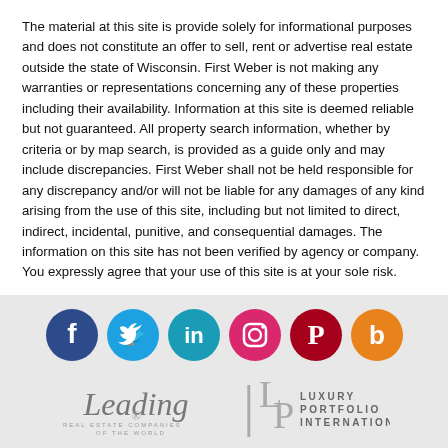The material at this site is provide solely for informational purposes and does not constitute an offer to sell, rent or advertise real estate outside the state of Wisconsin. First Weber is not making any warranties or representations concerning any of these properties including their availability. Information at this site is deemed reliable but not guaranteed. All property search information, whether by criteria or by map search, is provided as a guide only and may include discrepancies. First Weber shall not be held responsible for any discrepancy and/or will not be liable for any damages of any kind arising from the use of this site, including but not limited to direct, indirect, incidental, punitive, and consequential damages. The information on this site has not been verified by agency or company. You expressly agree that your use of this site is at your sole risk.
[Figure (infographic): Row of six social media circular icon buttons: Facebook (dark blue), Twitter (light blue), LinkedIn (cyan/teal), Instagram (pink/magenta), Pinterest (dark red/crimson), Blogger (orange)]
[Figure (logo): Leading Real Estate Companies of the World logo in italic script with subtitle]
[Figure (logo): Luxury Portfolio International logo with LP monogram bracket and text]
Download the First Weber App